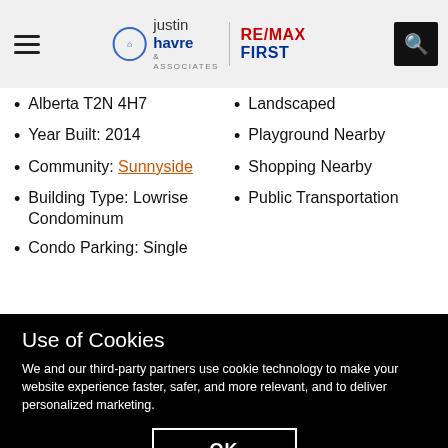Justin Havre & Associates | RE/MAX FIRST
Alberta T2N 4H7
Year Built: 2014
Community: Sunnyside
Building Type: Lowrise Condominum
Condo Parking: Single
Landscaped
Playground Nearby
Shopping Nearby
Public Transportation
Use of Cookies
We and our third-party partners use cookie technology to make your website experience faster, safer, and more relevant, and to deliver personalized marketing.
OK